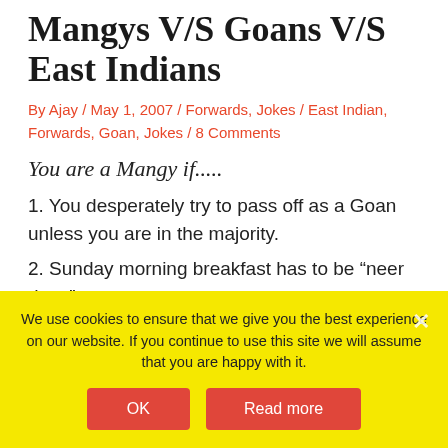Mangys V/S Goans V/S East Indians
By Ajay / May 1, 2007 / Forwards, Jokes / East Indian, Forwards, Goan, Jokes / 8 Comments
You are a Mangy if.....
1. You desperately try to pass off as a Goan unless you are in the majority.
2. Sunday morning breakfast has to be “neer dosa”
We use cookies to ensure that we give you the best experience on our website. If you continue to use this site we will assume that you are happy with it.